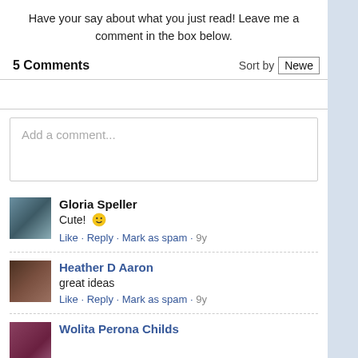Have your say about what you just read! Leave me a comment in the box below.
5 Comments
Sort by Newest
Add a comment...
Gloria Speller
Cute! 🙂
Like · Reply · Mark as spam · 9y
Heather D Aaron
great ideas
Like · Reply · Mark as spam · 9y
Wolita Perona Childs